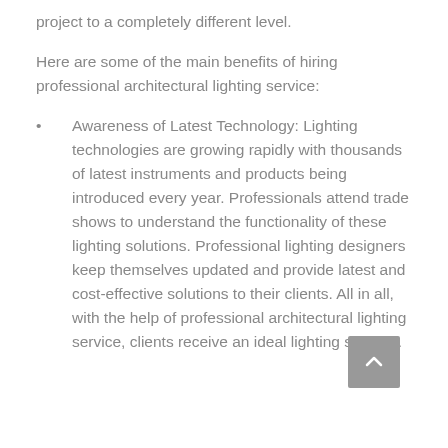project to a completely different level.
Here are some of the main benefits of hiring professional architectural lighting service:
Awareness of Latest Technology: Lighting technologies are growing rapidly with thousands of latest instruments and products being introduced every year. Professionals attend trade shows to understand the functionality of these lighting solutions. Professional lighting designers keep themselves updated and provide latest and cost-effective solutions to their clients. All in all, with the help of professional architectural lighting service, clients receive an ideal lighting solution.